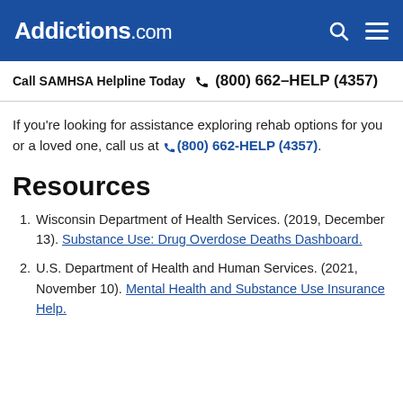Addictions.com
Call SAMHSA Helpline Today (800) 662-HELP (4357)
If you're looking for assistance exploring rehab options for you or a loved one, call us at (800) 662-HELP (4357).
Resources
Wisconsin Department of Health Services. (2019, December 13). Substance Use: Drug Overdose Deaths Dashboard.
U.S. Department of Health and Human Services. (2021, November 10). Mental Health and Substance Use Insurance Help.